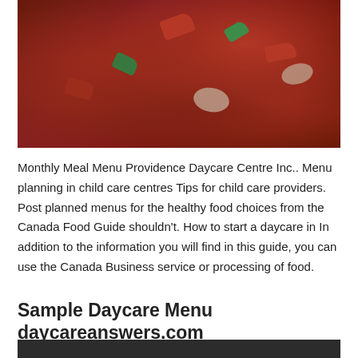[Figure (photo): Close-up photo of a stir-fry dish with meat in dark sauce, topped with red and green bell peppers and white onions.]
Monthly Meal Menu Providence Daycare Centre Inc.. Menu planning in child care centres Tips for child care providers. Post planned menus for the healthy food choices from the Canada Food Guide shouldn't. How to start a daycare in In addition to the information you will find in this guide, you can use the Canada Business service or processing of food.
Sample Daycare Menu daycareanswers.com
[Figure (photo): Bottom partial image, dark background, beginning of another food photo.]